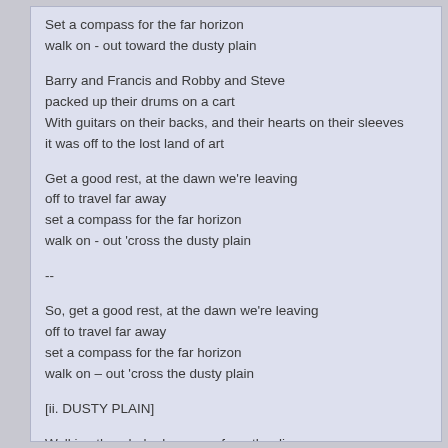Set a compass for the far horizon
walk on - out toward the dusty plain
Barry and Francis and Robby and Steve
packed up their drums on a cart
With guitars on their backs, and their hearts on their sleeves
it was off to the lost land of art
Get a good rest, at the dawn we're leaving
off to travel far away
set a compass for the far horizon
walk on - out 'cross the dusty plain
--
So, get a good rest, at the dawn we're leaving
off to travel far away
set a compass for the far horizon
walk on – out 'cross the dusty plain
[ii. DUSTY PLAIN]
Walking the whole day, away from the din
like some ancient caravan crew
Tired by nightfall, they stopped at an Inn